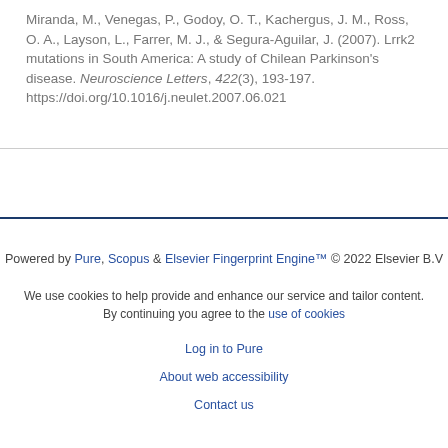Miranda, M., Venegas, P., Godoy, O. T., Kachergus, J. M., Ross, O. A., Layson, L., Farrer, M. J., & Segura-Aguilar, J. (2007). Lrrk2 mutations in South America: A study of Chilean Parkinson's disease. Neuroscience Letters, 422(3), 193-197. https://doi.org/10.1016/j.neulet.2007.06.021
Powered by Pure, Scopus & Elsevier Fingerprint Engine™ © 2022 Elsevier B.V
We use cookies to help provide and enhance our service and tailor content. By continuing you agree to the use of cookies
Log in to Pure
About web accessibility
Contact us